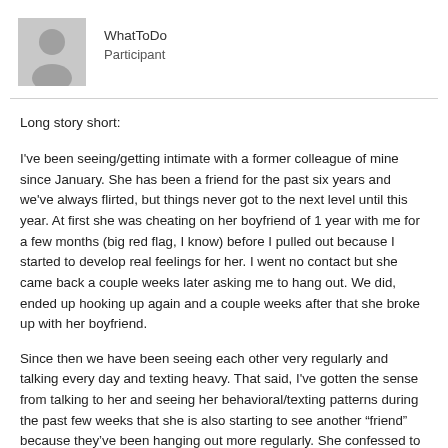[Figure (illustration): Grey placeholder avatar icon showing a silhouette of a person]
WhatToDo
Participant
Long story short:
I've been seeing/getting intimate with a former colleague of mine since January. She has been a friend for the past six years and we've always flirted, but things never got to the next level until this year. At first she was cheating on her boyfriend of 1 year with me for a few months (big red flag, I know) before I pulled out because I started to develop real feelings for her. I went no contact but she came back a couple weeks later asking me to hang out. We did, ended up hooking up again and a couple weeks after that she broke up with her boyfriend.
Since then we have been seeing each other very regularly and talking every day and texting heavy. That said, I've gotten the sense from talking to her and seeing her behavioral/texting patterns during the past few weeks that she is also starting to see another “friend” because they’ve been hanging out more regularly. She confessed to